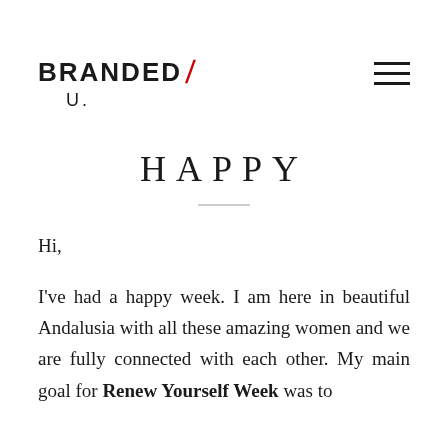BRANDED / U.
HAPPY
Hi,
I've had a happy week. I am here in beautiful Andalusia with all these amazing women and we are fully connected with each other. My main goal for Renew Yourself Week was to